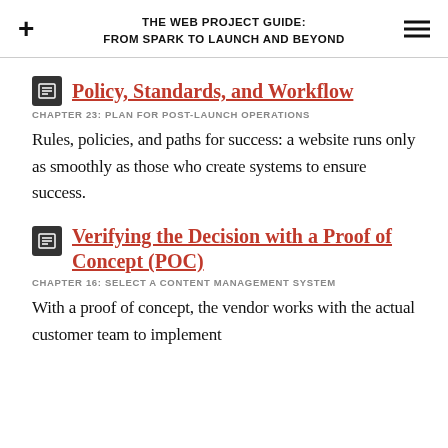THE WEB PROJECT GUIDE: FROM SPARK TO LAUNCH AND BEYOND
Policy, Standards, and Workflow
CHAPTER 23: PLAN FOR POST-LAUNCH OPERATIONS
Rules, policies, and paths for success: a website runs only as smoothly as those who create systems to ensure success.
Verifying the Decision with a Proof of Concept (POC)
CHAPTER 16: SELECT A CONTENT MANAGEMENT SYSTEM
With a proof of concept, the vendor works with the actual customer team to implement